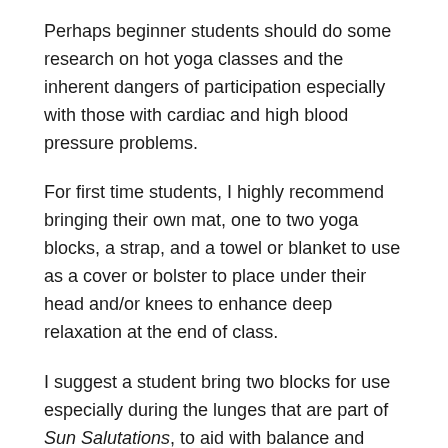Perhaps beginner students should do some research on hot yoga classes and the inherent dangers of participation especially with those with cardiac and high blood pressure problems.
For first time students, I highly recommend bringing their own mat, one to two yoga blocks, a strap, and a towel or blanket to use as a cover or bolster to place under their head and/or knees to enhance deep relaxation at the end of class.
I suggest a student bring two blocks for use especially during the lunges that are part of Sun Salutations, to aid with balance and stability.